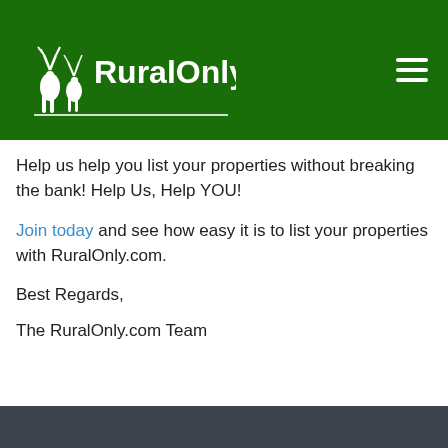[Figure (logo): RuralOnly.com logo with deer silhouettes on dark green background header]
Help us help you list your properties without breaking the bank! Help Us, Help YOU!
Join today and see how easy it is to list your properties with RuralOnly.com.
Best Regards,
The RuralOnly.com Team